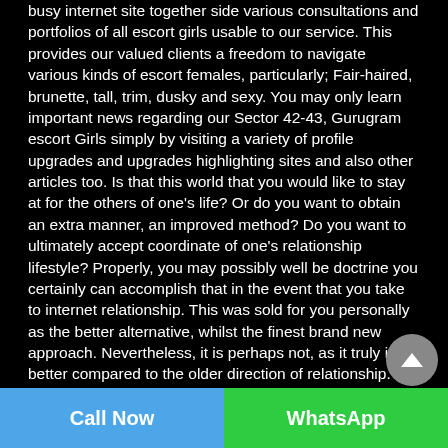busy internet site together side various consultations and portfolios of all escort girls usable to our service. This provides our valued clients a freedom to navigate various kinds of escort females, particularly; Fair-haired, brunette, tall, trim, dusky and sexy. You may only learn important news regarding our Sector 42-43, Gurugram escort Girls simply by visiting a variety of profile upgrades and upgrades highlighting sites and also other articles too. Is that this world that you would like to stay at for the others of one's life? Or do you want to obtain an extra manner, an improved method? Do you want to ultimately accept coordinate of one's relationship lifestyle? Properly, you may possibly well be doctrine you certainly can accomplish that in the event that you take to internet relationship. This was sold for you personally as the better alternative, whilst the finest brand new approach. Nevertheless, it is perhaps not, as it truly is no better compared to the older direction of relationship. What is this? You considered this had been a enhancement? That is as you're designed to presume thus. Sector 42-43, Gurugram escorts are much enriched than any Web connection process you are most likely to seek out. The all-natural foundation of the dominance lies inside the essence of competent escorts. Sector 42-43, Gurugram escorts certainly are a bree...
Call Now | WhatsApp